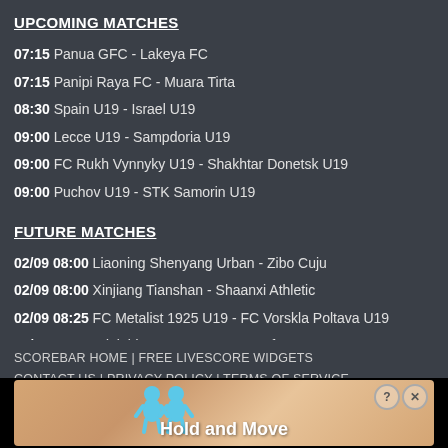UPCOMING MATCHES
07:15 Panua GFC - Lakeya FC
07:15 Panipi Raya FC - Muara Tirta
08:30 Spain U19 - Israel U19
09:00 Lecce U19 - Sampdoria U19
09:00 FC Rukh Vynnyky U19 - Shakhtar Donetsk U19
09:00 Puchov U19 - STK Samorin U19
FUTURE MATCHES
02/09 08:00 Liaoning Shenyang Urban - Zibo Cuju
02/09 08:00 Xinjiang Tianshan - Shaanxi Athletic
02/09 08:25 FC Metalist 1925 U19 - FC Vorskla Poltava U19
02/09 08:30 Adelaide Comets Women - Ffsa Ntc Women
02/09 09:00 Zorya U19 - Dynamo Kiev U19
02/09 09:00 Persebaya Surabaya - Bali Utd Pusam FC
SCOREBAR HOME | FREE LIVESCORE WIDGETS
CONTACT US | PRIVACY POLICY | TERMS OF SERVICE
© 2022 SCOREBAR | ALL RIGHTS RESERVED
[Figure (screenshot): Advertisement banner showing Hold and Move game with two blue cartoon figures and a sandy background]